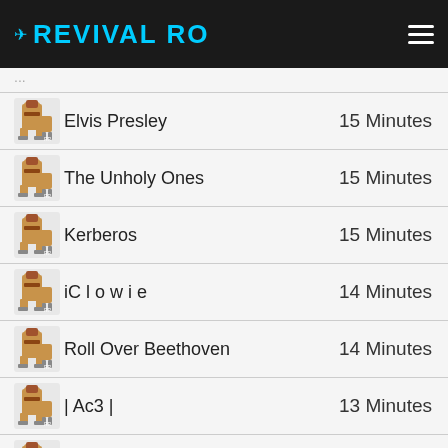RevivalRO
Elvis Presley — 15 Minutes
The Unholy Ones — 15 Minutes
Kerberos — 15 Minutes
iC l o w i e — 14 Minutes
Roll Over Beethoven — 14 Minutes
| Ac3 | — 13 Minutes
Kyah Pembarya — 13 Minutes
Remake — 12 Minutes